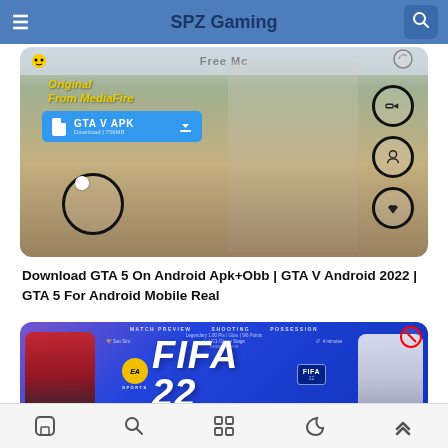SPZ Gaming
[Figure (screenshot): Screenshot of a smartphone showing GTA V APK download page. Shows 'Original From MediaFire' text overlay, a blue bar labeled 'GTA V APK', on-screen joystick circle and action buttons, GTA 5 gameplay scene with character in a desert environment.]
Download GTA 5 On Android Apk+Obb | GTA V Android 2022 | GTA 5 For Android Mobile Real
[Figure (screenshot): Screenshot of a smartphone showing FIFA 22 by EA Sports. Blue background with EA Sports logo, FIFA 22 logo in large white italic letters, two football players (one in red AC Milan kit, one in white Real Madrid kit), and match preview stats at the top.]
Navigation bar with home, search, apps grid, moon/theme, and up arrow icons